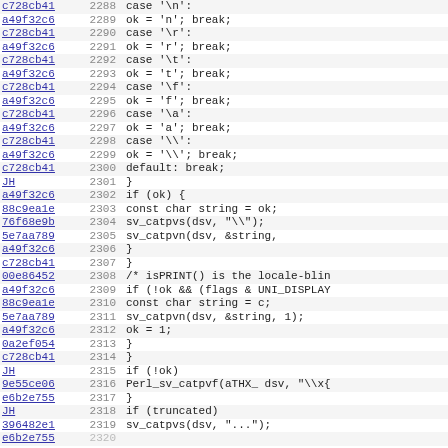[Figure (screenshot): Source code diff/blame view showing C code lines 2288-2319 with commit hashes, line numbers, and code content in a monospace font on alternating background rows.]